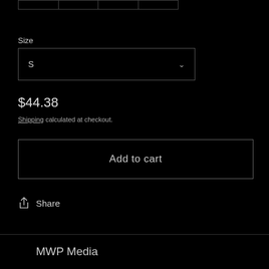|  |  |  |  |
| --- | --- | --- | --- |
|  |
Size
S
$44.38
Shipping calculated at checkout.
Add to cart
Share
MWP Media